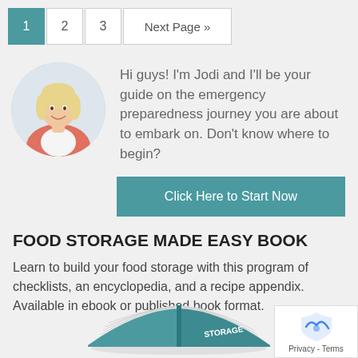1  2  3  Next Page »
[Figure (photo): Circular portrait photo of a smiling blonde woman wearing a coral/pink cardigan over a white top, with a light background.]
Hi guys! I'm Jodi and I'll be your guide on the emergency preparedness journey you are about to embark on. Don't know where to begin?
Click Here to Start Now
FOOD STORAGE MADE EASY BOOK
Learn to build your food storage with this program of checklists, an encyclopedia, and a recipe appendix. Available in ebook or published book format.
[Figure (photo): Open book with teal/turquoise cover showing the text 'STORAGE' visible on the cover. The book is open showing pages fanned out.]